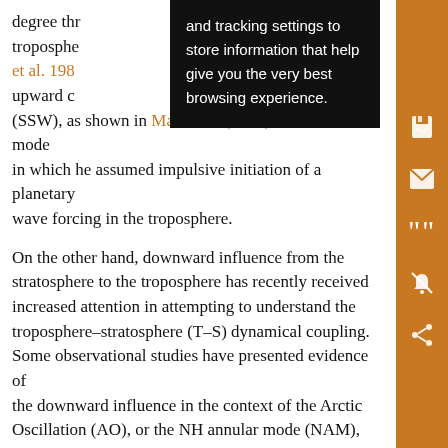degree through the troposphere... (SSW), as shown in Matsuno's (1971) theoretical model in which he assumed impulsive initiation of a planetary wave forcing in the troposphere.
On the other hand, downward influence from the stratosphere to the troposphere has recently received increased attention in attempting to understand the troposphere–stratosphere (T–S) dynamical coupling. Some observational studies have presented evidence of the downward influence in the context of the Arctic Oscillation (AO), or the NH annular mode (NAM), which is the leading mode of low-frequency variability in the NH troposphere and stratosphere, characterized by